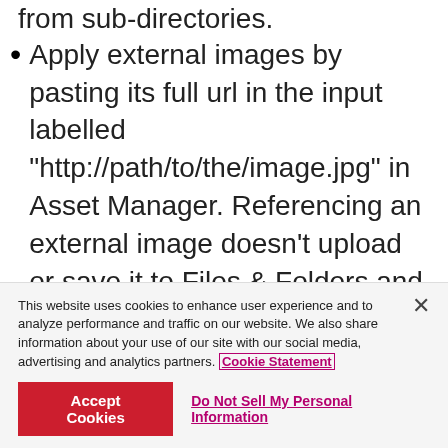Apply external images by pasting its full url in the input labelled "http://path/to/the/image.jpg" in Asset Manager. Referencing an external image doesn't upload or save it to Files & Folders and doesn't stay saved in the image listing in Asset Manager.
Place an image in the middle of a bunch of paragraphs by first creating a single paragraph component. Add multiple
This website uses cookies to enhance user experience and to analyze performance and traffic on our website. We also share information about your use of our site with our social media, advertising and analytics partners. Cookie Statement
Accept Cookies   Do Not Sell My Personal Information